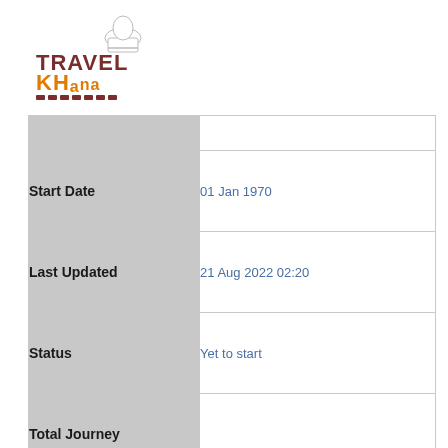[Figure (logo): TravelKhana logo with chef hat icon. 'TRAVEL' in dark red/brown, 'KHana' in orange, with small train icons below.]
|  |  |
| Start Date | 01 Jan 1970 |
| Last Updated | 21 Aug 2022 02:20 |
| Status | Yet to start |
| Total Journey |  |